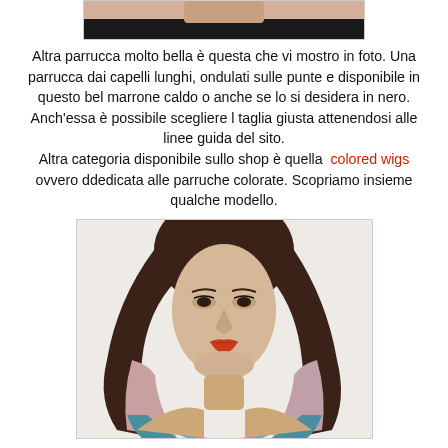[Figure (photo): Top portion of a mannequin head wearing a dark wig, cropped — only the lower torso/neck area visible with black top]
Altra parrucca molto bella è questa che vi mostro in foto. Una parrucca dai capelli lunghi, ondulati sulle punte e disponibile in questo bel marrone caldo o anche se lo si desidera in nero. Anch'essa è possibile scegliere l taglia giusta attenendosi alle linee guida del sito.
Altra categoria disponibile sullo shop è quella colored wigs ovvero ddedicata alle parruche colorate. Scopriamo insieme qualche modello.
[Figure (photo): Mannequin head wearing a long wig with dark roots fading to pink/blonde and teal/blue tips, colorful ombre style]